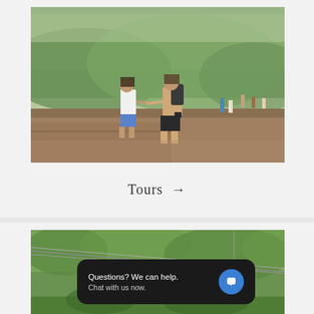[Figure (photo): Two people holding hands walking on stone steps at a scenic overlook with lush green hills in the background, and other tourists visible in the distance.]
Tours →
[Figure (photo): Person on a zipline over a green jungle canopy, with cables and harness visible.]
Questions? We can help.
Chat with us now.